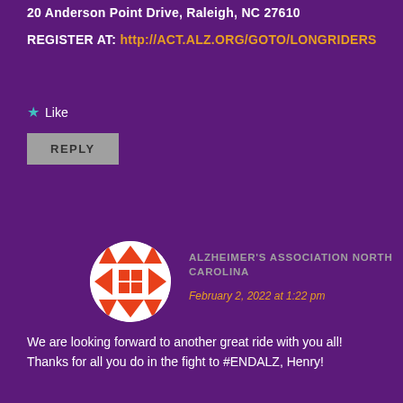20 Anderson Point Drive, Raleigh, NC 27610
REGISTER AT: http://ACT.ALZ.ORG/GOTO/LONGRIDERS
Like
REPLY
[Figure (logo): Circular avatar with orange and white geometric quilt pattern on white background]
ALZHEIMER'S ASSOCIATION NORTH CAROLINA
February 2, 2022 at 1:22 pm
We are looking forward to another great ride with you all! Thanks for all you do in the fight to #ENDALZ, Henry!
Like
REPLY